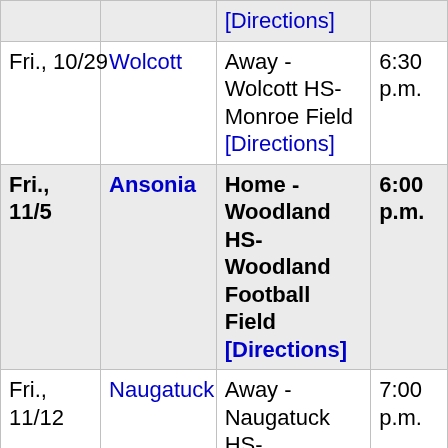| Date | Opponent | Location | Time |
| --- | --- | --- | --- |
|  |  | [Directions] |  |
| Fri., 10/29 | Wolcott | Away - Wolcott HS-Monroe Field [Directions] | 6:30 p.m. |
| Fri., 11/5 | Ansonia | Home - Woodland HS-Woodland Football Field [Directions] | 6:00 p.m. |
| Fri., 11/12 | Naugatuck | Away - Naugatuck HS-... | 7:00 p.m. |